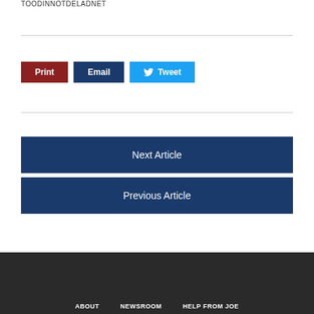TOODINNOTDELADNET
Print
Email
Tweet
Next Article
Previous Article
ABOUT   NEWSROOM   HELP FROM JOE